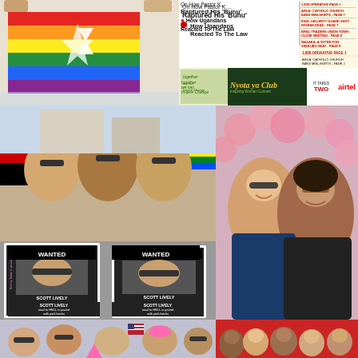[Figure (photo): Two people holding a rainbow pride flag with a Star of David in the center, outdoor setting]
[Figure (photo): Ugandan newspaper front page with headlines about Pastor K and how Ugandans reacted to anti-gay law]
[Figure (photo): Airtel advertisement banner for Inspiring Women Concert]
[Figure (photo): Three men at a pride parade, two holding WANTED posters depicting Scott Lively, with Uganda flag in background]
[Figure (photo): Two women posing together smiling in front of pink balloons]
[Figure (photo): Group of people at outdoor event with pink triangle, American flag]
[Figure (photo): Group of diverse people indoors in front of red wall]